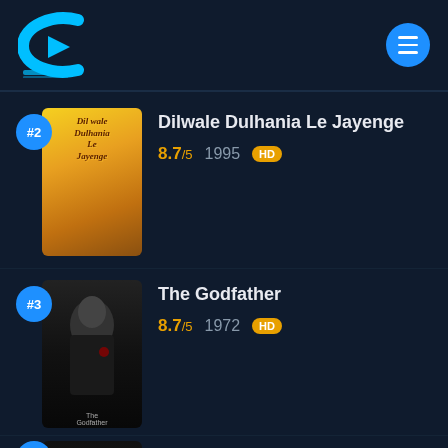[Figure (logo): Cyan/blue C-shape play button logo with film strip base]
[Figure (infographic): Blue circle menu hamburger button]
#2 Dilwale Dulhania Le Jayenge 8.7/5 1995 HD
#3 The Godfather 8.7/5 1972 HD
#4 Schindler's List 8.6/5 1993 HD (partial)